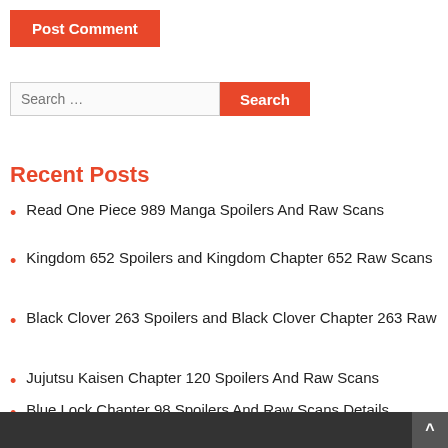Post Comment
Search ...
Recent Posts
Read One Piece 989 Manga Spoilers And Raw Scans
Kingdom 652 Spoilers and Kingdom Chapter 652 Raw Scans
Black Clover 263 Spoilers and Black Clover Chapter 263 Raw
Jujutsu Kaisen Chapter 120 Spoilers And Raw Scans
Blue Lock Chapter 98 Spoilers And Raw Scans Details
^